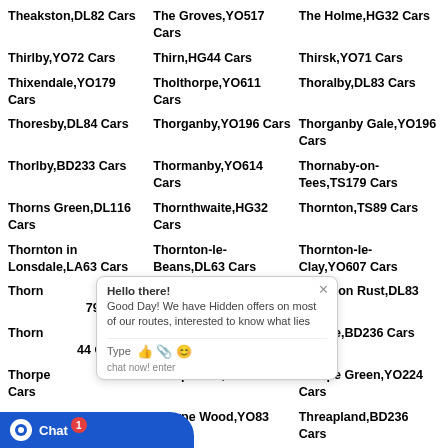Theakston,DL82 Cars
The Groves,YO517 Cars
The Holme,HG32 Cars
Thirlby,YO72 Cars
Thirn,HG44 Cars
Thirsk,YO71 Cars
Thixendale,YO179 Cars
Tholthorpe,YO611 Cars
Thoralby,DL83 Cars
Thoresby,DL84 Cars
Thorganby,YO196 Cars
Thorganby Gale,YO196 Cars
Thorlby,BD233 Cars
Thormanby,YO614 Cars
Thornaby-on-Tees,TS179 Cars
Thorns Green,DL116 Cars
Thornthwaite,HG32 Cars
Thornton,TS89 Cars
Thornton in Lonsdale,LA63 Cars
Thornton-le-Beans,DL63 Cars
Thornton-le-Clay,YO607 Cars
Thornton Steward,HG179 Cars
Thornton-le-Street,YO74 Cars
Thornton Rust,DL83 Cars
Thornton Watlass,HG44 Cars
Thorntree,TS39 Cars
Thorpe,BD236 Cars
Thorpe Bassett,YO175 Cars
Thorpefield,YO73 Cars
Thorpe Green,YO224 Cars
Thorpe Willoughby,YO89 Cars
Thorpe Wood,YO83 Cars
Threapland,BD236 Cars